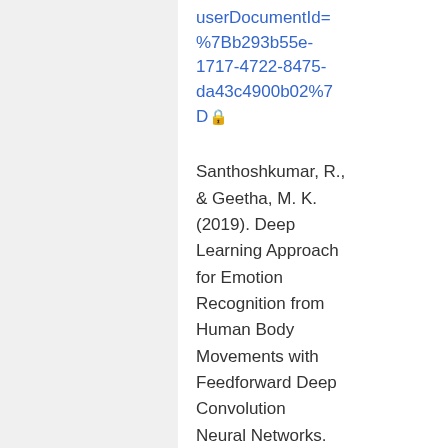userDocumentId=%7Bb293b55e-1717-4722-8475-da43c4900b02%7D🔒
Santhoshkumar, R., & Geetha, M. K. (2019). Deep Learning Approach for Emotion Recognition from Human Body Movements with Feedforward Deep Convolution Neural Networks. Procedia Computer Science, 152, 158–